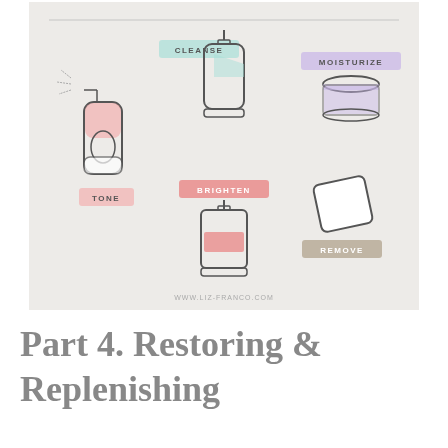[Figure (infographic): Skincare routine infographic on a beige background showing illustrated bottles and products labeled: CLEANSE (pump bottle, light blue label), MOISTURIZE (cream jar, lavender label), TONE (spray bottle, pink), BRIGHTEN (pump dispenser, salmon/coral label), REMOVE (cotton pad, tan label). Website: www.liz-franco.com]
Part 4. Restoring & Replenishing